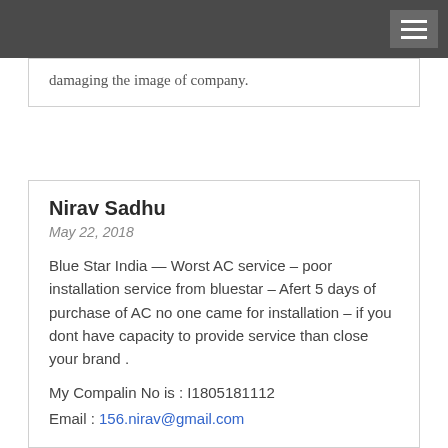damaging the image of company.
Nirav Sadhu
May 22, 2018

Blue Star India — Worst AC service – poor installation service from bluestar – Afert 5 days of purchase of AC no one came for installation – if you dont have capacity to provide service than close your brand .

My Compalin No is : I1805181112
Email : 156.nirav@gmail.com

I recently bought Blue Star 1.5 split AC and before I planned to get I confirmed with the dealer that installation will be done on that day itself. Dealer contacted someone and promised me that